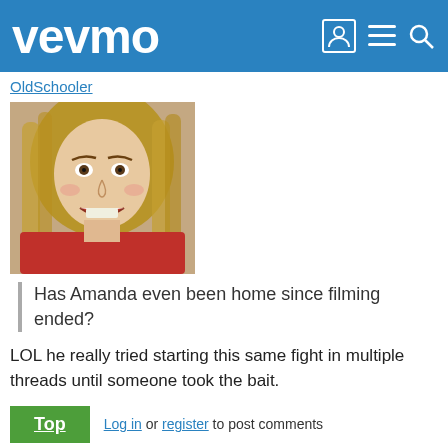vevmo
OldSchooler
[Figure (illustration): Avatar image: a cartoon/drawing of a woman with long blonde hair, laughing, wearing a red top. Appears to be a tattoo-style illustration.]
Has Amanda even been home since filming ended?
LOL he really tried starting this same fight in multiple threads until someone took the bait.
Top
Log in or register to post comments
September 13, 2021 · 1:42pm
#118
Californiagirl